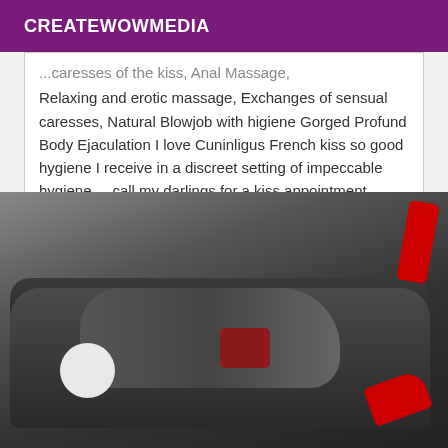CREATEWOWMEDIA
... caresses of the kiss, Anal Massage, Relaxing and erotic massage, Exchanges of sensual caresses, Natural Blowjob with higiene Gorged Profund Body Ejaculation I love Cuninligus French kiss so good hygiene I receive in a discreet setting of impeccable hygiene ... call my darlings for a kiss appointment
[Figure (photo): Black and white photo of a figure lying on a dark leather sofa, with red high heels visible and a red plaid garment accent]